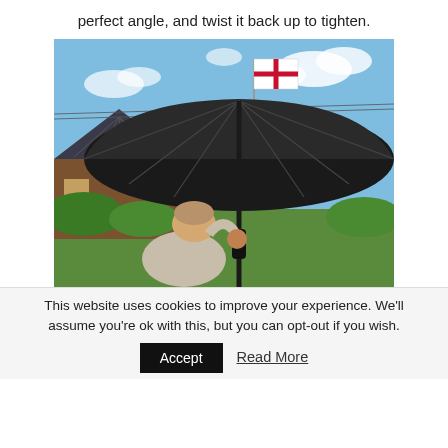perfect angle, and twist it back up to tighten.
[Figure (photo): A person holding a large open black umbrella outdoors, looking up at the underside of the umbrella canopy. In the background there is a house with a dark tiled roof, a flagpole with an England (St George's Cross) flag, green bushes, and a partly cloudy blue sky.]
This website uses cookies to improve your experience. We'll assume you're ok with this, but you can opt-out if you wish.
Accept   Read More